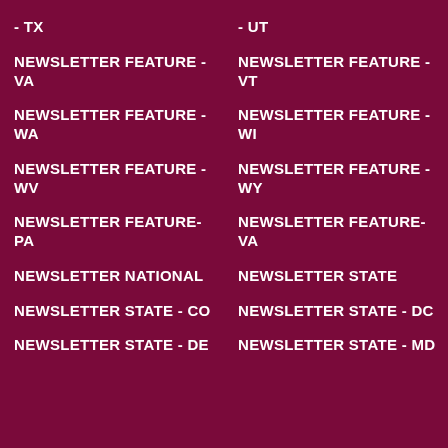- TX
- UT
NEWSLETTER FEATURE - VA
NEWSLETTER FEATURE - VT
NEWSLETTER FEATURE - WA
NEWSLETTER FEATURE - WI
NEWSLETTER FEATURE - WV
NEWSLETTER FEATURE - WY
NEWSLETTER FEATURE- PA
NEWSLETTER FEATURE- VA
NEWSLETTER NATIONAL
NEWSLETTER STATE
NEWSLETTER STATE - CO
NEWSLETTER STATE - DC
NEWSLETTER STATE - DE
NEWSLETTER STATE - MD